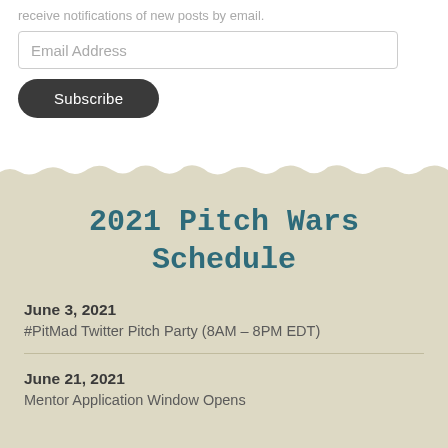receive notifications of new posts by email.
Email Address
Subscribe
2021 Pitch Wars Schedule
June 3, 2021
#PitMad Twitter Pitch Party (8AM – 8PM EDT)
June 21, 2021
Mentor Application Window Opens